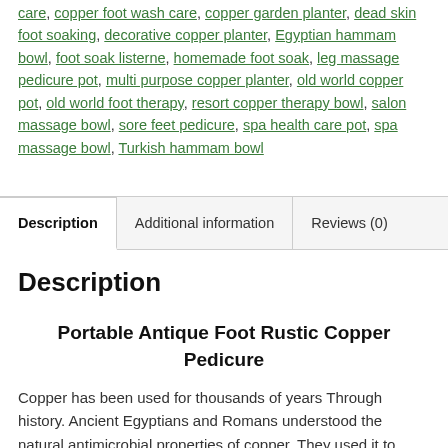care, copper foot wash care, copper garden planter, dead skin foot soaking, decorative copper planter, Egyptian hammam bowl, foot soak listerne, homemade foot soak, leg massage pedicure pot, multi purpose copper planter, old world copper pot, old world foot therapy, resort copper therapy bowl, salon massage bowl, sore feet pedicure, spa health care pot, spa massage bowl, Turkish hammam bowl
Description | Additional information | Reviews (0)
Description
Portable Antique Foot Rustic Copper Pedicure
Copper has been used for thousands of years Through history. Ancient Egyptians and Romans understood the natural antimicrobial properties of copper. They used it to build their